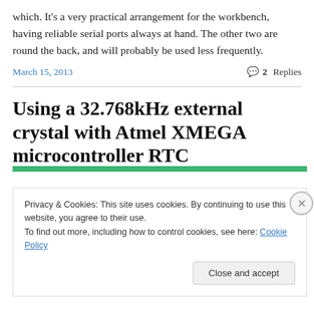which. It's a very practical arrangement for the workbench, having reliable serial ports always at hand. The other two are round the back, and will probably be used less frequently.
March 15, 2013   💬 2 Replies
Using a 32.768kHz external crystal with Atmel XMEGA microcontroller RTC
Privacy & Cookies: This site uses cookies. By continuing to use this website, you agree to their use.
To find out more, including how to control cookies, see here: Cookie Policy
Close and accept